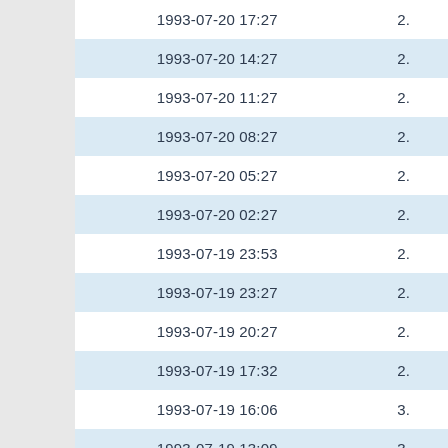| Datetime | Value |
| --- | --- |
| 1993-07-20 17:27 | 2. |
| 1993-07-20 14:27 | 2. |
| 1993-07-20 11:27 | 2. |
| 1993-07-20 08:27 | 2. |
| 1993-07-20 05:27 | 2. |
| 1993-07-20 02:27 | 2. |
| 1993-07-19 23:53 | 2. |
| 1993-07-19 23:27 | 2. |
| 1993-07-19 20:27 | 2. |
| 1993-07-19 17:32 | 2. |
| 1993-07-19 16:06 | 3. |
| 1993-07-19 13:09 | 3. |
| 1993-07-19 08:27 | 3. |